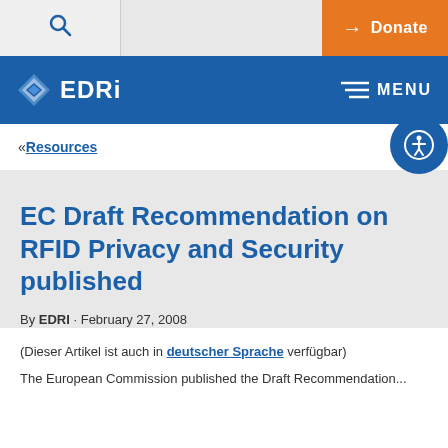EDRi — MENU | Donate
« Resources
EC Draft Recommendation on RFID Privacy and Security published
By EDRI · February 27, 2008
(Dieser Artikel ist auch in deutscher Sprache verfügbar)
The European Commission published the Draft Recommendation...